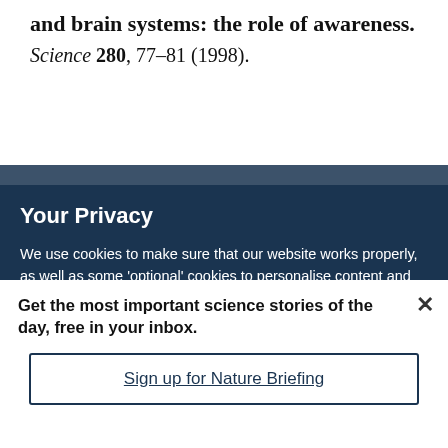and brain systems: the role of awareness. Science 280, 77–81 (1998).
Your Privacy
We use cookies to make sure that our website works properly, as well as some 'optional' cookies to personalise content and advertising, provide social media features and analyse how people use our site. By accepting some or all optional cookies you give consent to the processing of your personal data, including transfer to third parties, some in countries outside of the European Economic Area that do not offer the same data protection standards as the country where you live. You can decide which optional cookies to accept by clicking on 'Manage Settings', where you can
Get the most important science stories of the day, free in your inbox.
Sign up for Nature Briefing